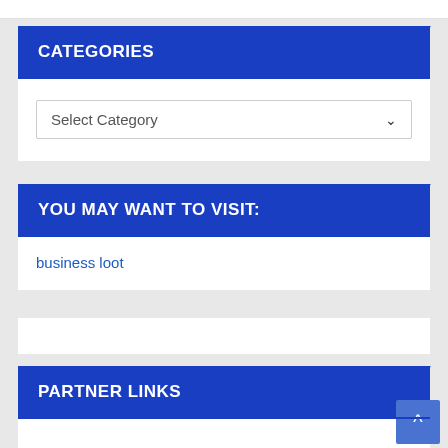CATEGORIES
Select Category
YOU MAY WANT TO VISIT:
business loot
PARTNER LINKS